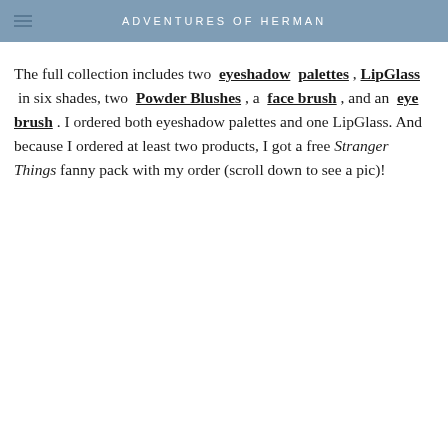ADVENTURES OF HERMAN
The full collection includes two eyeshadow palettes, LipGlass in six shades, two Powder Blushes, a face brush, and an eye brush. I ordered both eyeshadow palettes and one LipGlass. And because I ordered at least two products, I got a free Stranger Things fanny pack with my order (scroll down to see a pic)!